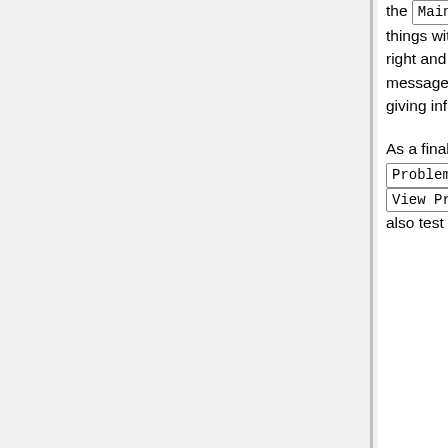the Main Menu . Again this page is a little complicated because you can do a lot of things with it (including mail merge) but at this point just select yourself in the list to the right and hit Send Email at the bottom. You should receive two emails. One is the message you just sent and the other is an email with subject "WeBWorK email sent" giving information on your mailing.
As a final test click on Library Browser on the Main Menu . Click Problem Library and select a Subject , Chapter and Section and then hit View Problems . The first 20 of your selected problems will be displayed. You can also test that you can access any